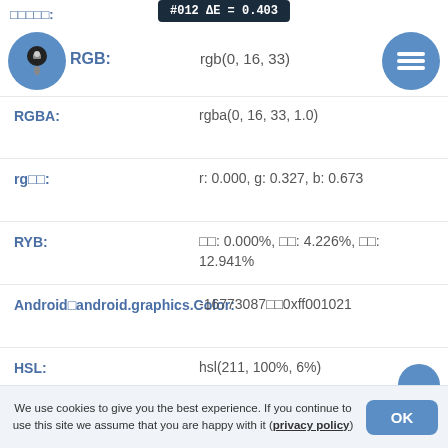RGB:
#012  ΔE = 0.403
rgb(0, 16, 33)
| Label | Value |
| --- | --- |
| RGBA: | rgba(0, 16, 33, 1.0) |
| rg□□: | r: 0.000, g: 0.327, b: 0.673 |
| RYB: | □□: 0.000%, □□: 4.226%, □□: 12.941% |
| Android□android.graphics.Color: | -16773087□□0xff001021 |
| HSL: | hsl(211, 100%, 6%) |
| HSLA: | hsla(211, 100□, 6□, 1.0) |
| HSV□HSB: | □□: 211° (210.909), □□: 100% (1.000), □: 13% (0.129) |
| HSP: | □□: 210.909, □□: 100.000%, □□□□: 6.496% |
We use cookies to give you the best experience. If you continue to use this site we assume that you are happy with it (privacy policy)